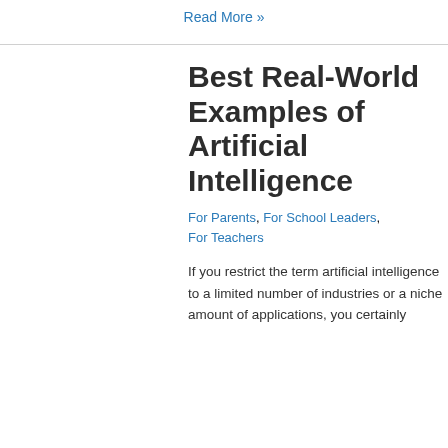Read More »
Best Real-World Examples of Artificial Intelligence
For Parents, For School Leaders, For Teachers
If you restrict the term artificial intelligence to a limited number of industries or a niche amount of applications, you certainly